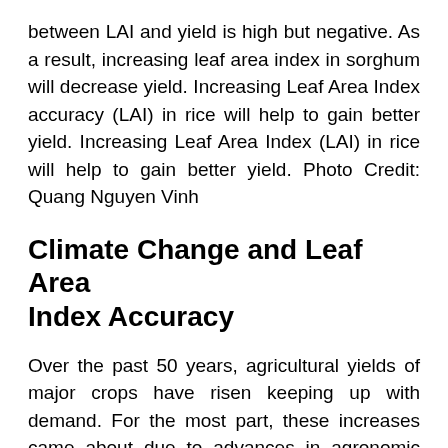between LAI and yield is high but negative. As a result, increasing leaf area index in sorghum will decrease yield. Increasing Leaf Area Index accuracy (LAI) in rice will help to gain better yield. Increasing Leaf Area Index (LAI) in rice will help to gain better yield. Photo Credit: Quang Nguyen Vinh
Climate Change and Leaf Area Index Accuracy
Over the past 50 years, agricultural yields of major crops have risen keeping up with demand. For the most part, these increases came about due to advances in agronomic approaches and classical breeding. For example, mainly there was a focus on maximized plant architecture and light capture, resulting in higher yielding varieties. However,